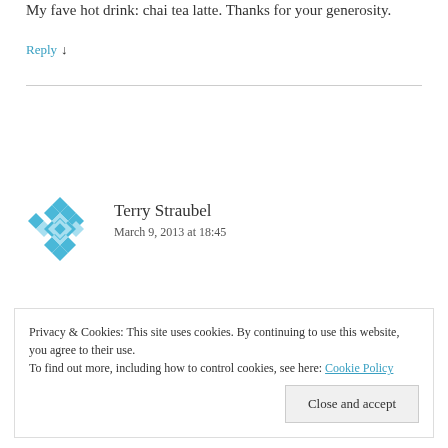My fave hot drink: chai tea latte. Thanks for your generosity.
Reply ↓
Terry Straubel
March 9, 2013 at 18:45
Privacy & Cookies: This site uses cookies. By continuing to use this website, you agree to their use.
To find out more, including how to control cookies, see here: Cookie Policy
Close and accept